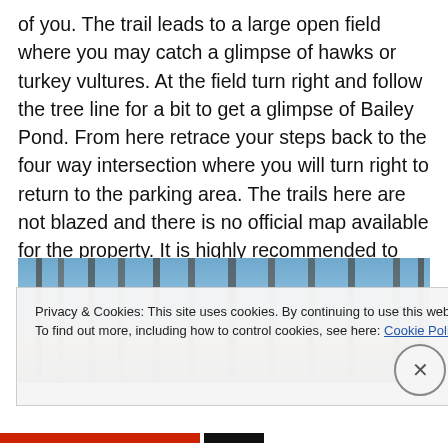of you. The trail leads to a large open field where you may catch a glimpse of hawks or turkey vultures. At the field turn right and follow the tree line for a bit to get a glimpse of Bailey Pond. From here retrace your steps back to the four way intersection where you will turn right to return to the parking area. The trails here are not blazed and there is no official map available for the property. It is highly recommended to use a GPS device here.
[Figure (photo): Photo of bare winter trees against a blue sky, taken from below looking up at the branches.]
Privacy & Cookies: This site uses cookies. By continuing to use this website, you agree to their use.
To find out more, including how to control cookies, see here: Cookie Policy